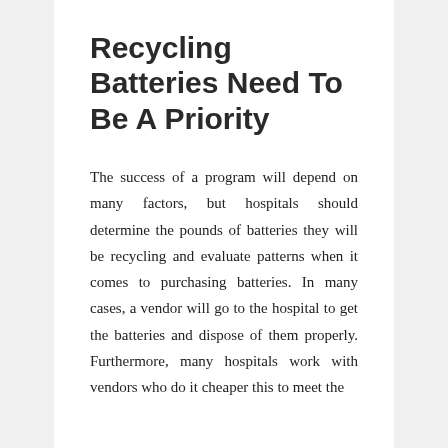Recycling Batteries Need To Be A Priority
The success of a program will depend on many factors, but hospitals should determine the pounds of batteries they will be recycling and evaluate patterns when it comes to purchasing batteries. In many cases, a vendor will go to the hospital to get the batteries and dispose of them properly. Furthermore, many hospitals work with vendors who do it cheaper this to meet the